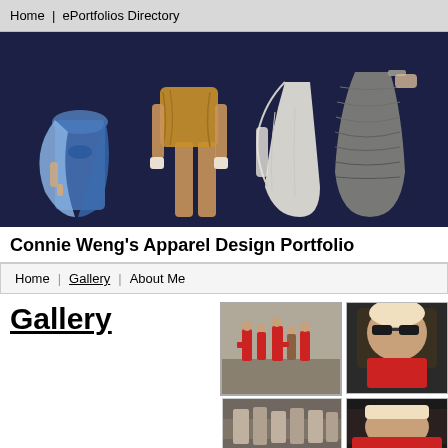Home | ePortfolios Directory
[Figure (illustration): Fashion illustration showing four figures wearing different outfits against a dark navy background: a blue draped dress, a gold/yellow ensemble, a white draped gown, and a gray textured dress.]
Connie Weng's Apparel Design Portfolio
Home | Gallery | About Me
Gallery
[Figure (photo): Thumbnail photo of people on a street, some wearing red.]
[Figure (photo): Thumbnail photo of a person with sunglasses, close-up.]
[Figure (photo): Thumbnail photo, bottom row left, partially visible.]
[Figure (photo): Thumbnail photo, bottom row right, partially visible.]
Loading [MathJax]/extensions/mml2jax.js